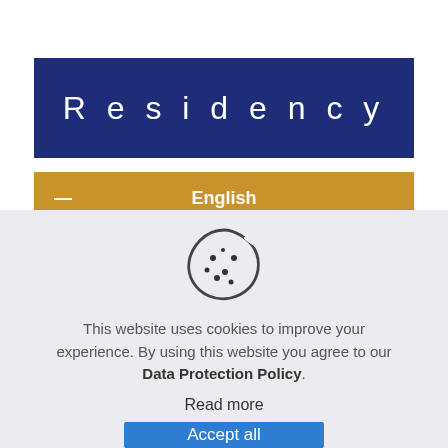Residency
— English
[Figure (illustration): Cookie icon — a round cookie with a bite taken out and chocolate chip dots]
This website uses cookies to improve your experience. By using this website you agree to our Data Protection Policy.
Read more
Accept all